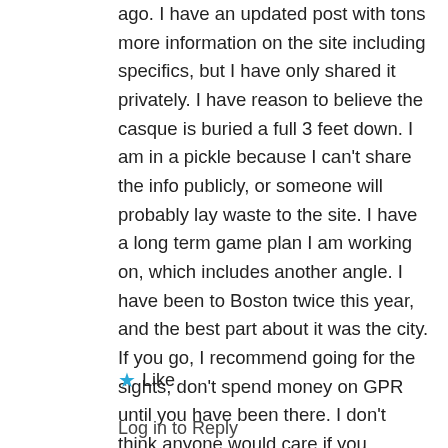ago. I have an updated post with tons more information on the site including specifics, but I have only shared it privately. I have reason to believe the casque is buried a full 3 feet down. I am in a pickle because I can't share the info publicly, or someone will probably lay waste to the site. I have a long term game plan I am working on, which includes another angle. I have been to Boston twice this year, and the best part about it was the city. If you go, I recommend going for the sights, don't spend money on GPR until you have been there. I don't think anyone would care if you surveyed it, Boston is pretty relaxed. But I don't think GPR will be fruitful. I wish I could share more information. I will in the future. Also BBF is super seedy at night, be careful.
★ Like
Log in to Reply